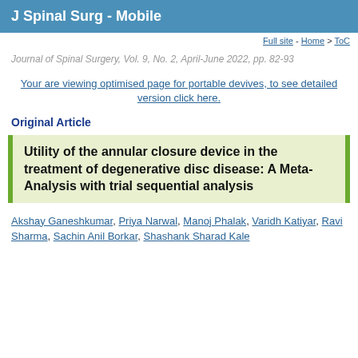J Spinal Surg - Mobile
Full site - Home > ToC
Journal of Spinal Surgery, Vol. 9, No. 2, April-June 2022, pp. 82-93
Your are viewing optimised page for portable devives, to see detailed version click here.
Original Article
Utility of the annular closure device in the treatment of degenerative disc disease: A Meta-Analysis with trial sequential analysis
Akshay Ganeshkumar, Priya Narwal, Manoj Phalak, Varidh Katiyar, Ravi Sharma, Sachin Anil Borkar, Shashank Sharad Kale